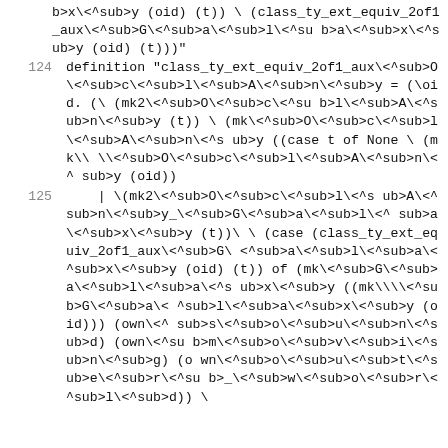b>x\<^sub>y (oid) (t)) \<Rightarrow> (class_ty_ext_equiv_2of1_aux\<^sub>G\<^sub>a\<^sub>l\<^sub>a\<^sub>x\<^sub>y (oid) (t)))"
124  definition "class_ty_ext_equiv_2of1_aux\<^sub>O\<^sub>c\<^sub>l\<^sub>A\<^sub>n\<^sub>y = (\<lambda>oid. (\<lambda> (mk2\<^sub>O\<^sub>c\<^sub>l\<^sub>A\<^sub>n\<^sub>y (t)) \<Rightarrow> (mk\<^sub>O\<^sub>c\<^sub>l\<^sub>A\<^sub>n\<^sub>y ((case t of None \<Rightarrow> (mk\<E>\<X>\<T>\<^sub>O\<^sub>c\<^sub>l\<^sub>A\<^sub>n\<^sub>y (oid))
125      | \<lfloor>(mk2\<^sub>O\<^sub>c\<^sub>l\<^sub>A\<^sub>n\<^sub>y_\<^sub>G\<^sub>a\<^sub>l\<^sub>a\<^sub>x\<^sub>y (t))\<rfloor> \<Rightarrow> (case (class_ty_ext_equiv_2of1_aux\<^sub>G\<^sub>a\<^sub>l\<^sub>a\<^sub>x\<^sub>y (oid) (t)) of (mk\<^sub>G\<^sub>a\<^sub>l\<^sub>a\<^sub>x\<^sub>y ((mk\<E>\<X>\<T>\<^sub>G\<^sub>a\<^sub>l\<^sub>a\<^sub>x\<^sub>y (oid)) (own\<^sub>s\<^sub>o\<^sub>u\<^sub>n\<^sub>d) (own\<^sub>m\<^sub>o\<^sub>v\<^sub>i\<^sub>n\<^sub>g) (own\<^sub>o\<^sub>u\<^sub>t\<^sub>e\<^sub>r\<^sub>_\<^sub>w\<^sub>o\<^sub>r\<^sub>l\<^sub>d)) \